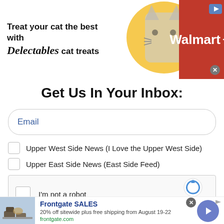[Figure (infographic): Advertisement banner: 'Treat your cat the best with Delectables cat treats' with Walmart branding, cat image, and yellow heart graphic]
Get Us In Your Inbox:
Email
Upper West Side News (I Love the Upper West Side)
Upper East Side News (East Side Feed)
[Figure (other): reCAPTCHA widget with checkbox 'I'm not a robot', reCAPTCHA logo, Privacy and Terms links]
[Figure (infographic): Advertisement: Frontgate SALES - 20% off sitewide plus free shipping from August 19-22, frontgate.com, with furniture image and navigation arrow button]